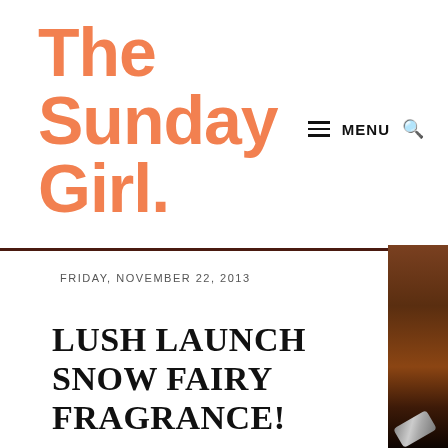The Sunday Girl.
MENU 🔍
FRIDAY, NOVEMBER 22, 2013
LUSH LAUNCH SNOW FAIRY FRAGRANCE!
[Figure (photo): Partial view of a wooden surface with a metallic cylindrical object at the bottom right corner]